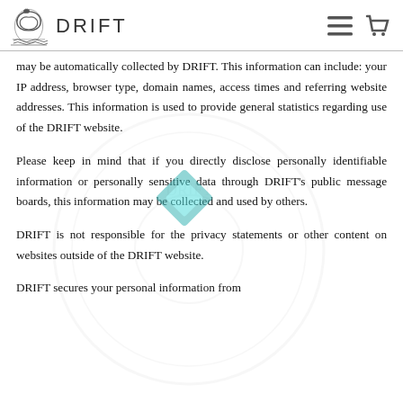DRIFT
may be automatically collected by DRIFT. This information can include: your IP address, browser type, domain names, access times and referring website addresses. This information is used to provide general statistics regarding use of the DRIFT website.
Please keep in mind that if you directly disclose personally identifiable information or personally sensitive data through DRIFT's public message boards, this information may be collected and used by others.
DRIFT is not responsible for the privacy statements or other content on websites outside of the DRIFT website.
DRIFT secures your personal information from